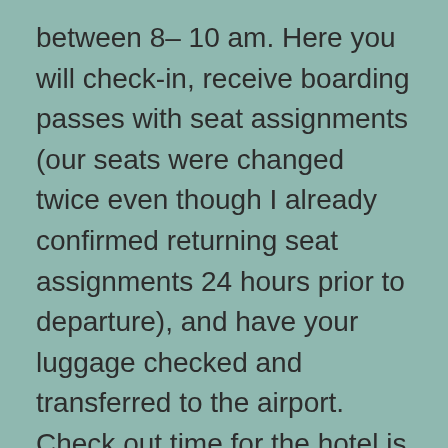between 8– 10 am. Here you will check-in, receive boarding passes with seat assignments (our seats were changed twice even though I already confirmed returning seat assignments 24 hours prior to departure), and have your luggage checked and transferred to the airport. Check out time for the hotel is 11:00am, and the transfer back to the airport is 12:00pm. Therefore, if you plan to shower any time after 8-10am, you must carry on your toiletry items etc… After this whole ordeal, we were finally on our way back to Mo-Bay airport.
DEPARTURE / AIR JAMAICA: We were